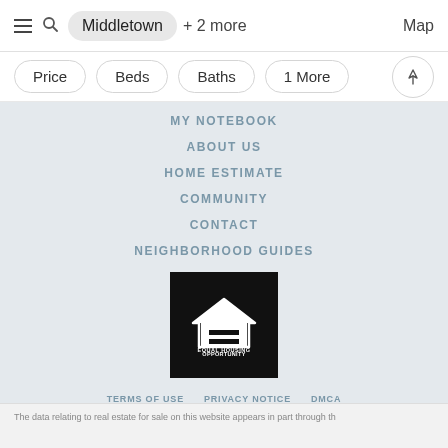[Figure (screenshot): Search bar with hamburger menu, search icon, Middletown location pill with +2 more label, and Map button on the right]
[Figure (screenshot): Filter bar with pills: Price, Beds, Baths, 1 More, and a pin/location icon button on the right]
MY NOTEBOOK
ABOUT US
HOME ESTIMATE
COMMUNITY
CONTACT
NEIGHBORHOOD GUIDES
[Figure (logo): Equal Housing Opportunity logo - white house icon with equal sign on black background, text EQUAL HOUSING OPPORTUNITY below]
TERMS OF USE   PRIVACY NOTICE   DMCA
The data relating to real estate for sale on this website appears in part through th